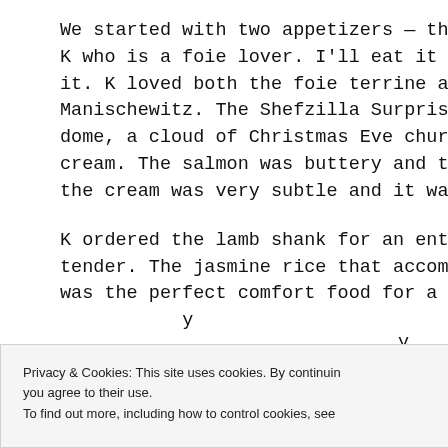We started with two appetizers — the Foie Two Ways and t... K who is a foie lover. I'll eat it in a more distilled state like in it. K loved both the foie terrine and the pan seared foie. I mostl Manischewitz. The Shefzilla Surprise that evening was deliver dome, a cloud of Christmas Eve church incense-smelling smoke cream. The salmon was buttery and the ice cream was a nice p the cream was very subtle and it was delicious.
K ordered the lamb shank for an entrée and I had the barramundi tender. The jasmine rice that accompanied it was toasty and s was the perfect comfort food for a winter's night. The barramu...
Privacy & Cookies: This site uses cookies. By continuing you agree to their use. To find out more, including how to control cookies, see